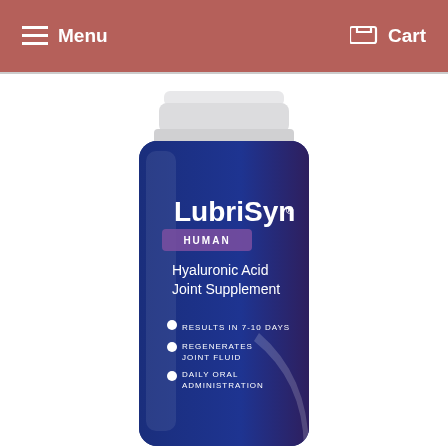Menu  Cart
[Figure (photo): A bottle of LubriSyn Human Hyaluronic Acid Joint Supplement with a white cap and blue/purple label. Label text includes: LubriSyn, HUMAN, Hyaluronic Acid Joint Supplement, RESULTS IN 7-10 DAYS, REGENERATES JOINT FLUID, DAILY ORAL ADMINISTRATION]